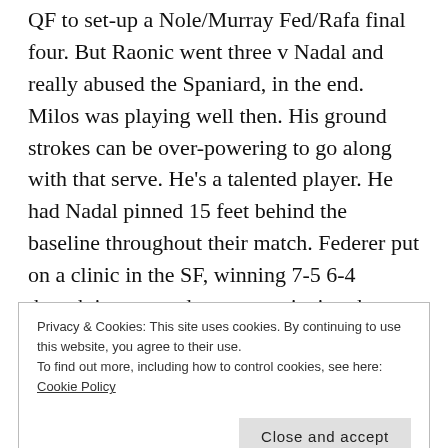QF to set-up a Nole/Murray Fed/Rafa final four. But Raonic went three v Nadal and really abused the Spaniard, in the end. Milos was playing well then. His ground strokes can be over-powering to go along with that serve. He's a talented player. He had Nadal pinned 15 feet behind the baseline throughout their match. Federer put on a clinic in the SF, winning 7-5 6-4 though it appeared more convincing than that. Even Milos playing well simply could not deal with Roger's shot-
Privacy & Cookies: This site uses cookies. By continuing to use this website, you agree to their use.
To find out more, including how to control cookies, see here: Cookie Policy
Close and accept
— playing well with Milos yesterday,